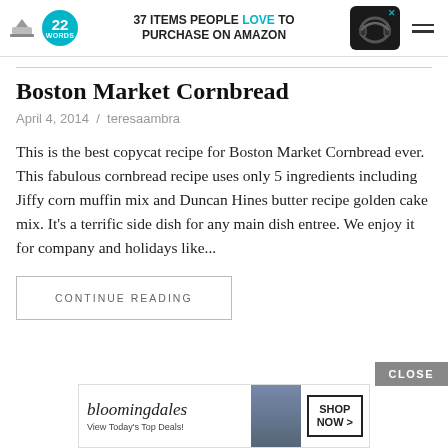22 Words — 37 ITEMS PEOPLE LOVE TO PURCHASE ON AMAZON
Boston Market Cornbread
April 4, 2014  /  teresaambra
This is the best copycat recipe for Boston Market Cornbread ever. This fabulous cornbread recipe uses only 5 ingredients including Jiffy corn muffin mix and Duncan Hines butter recipe golden cake mix. It's a terrific side dish for any main dish entree. We enjoy it for company and holidays like...
CONTINUE READING
CLOSE
[Figure (screenshot): Bloomingdale's advertisement banner — 'View Today's Top Deals!' with SHOP NOW button]